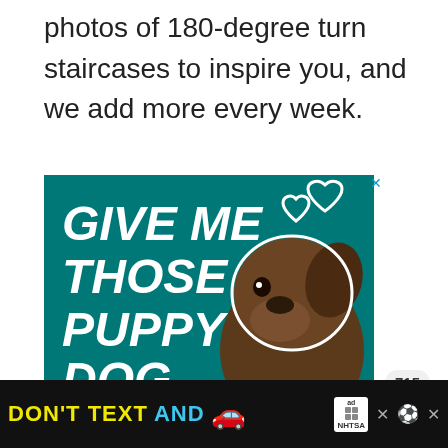photos of 180-degree turn staircases to inspire you, and we add more every week.
[Figure (photo): Advertisement banner with teal background showing a dog with a colorful bow tie and text 'GIVE ME THOSE PUPPY DOG EYES' with heart icons]
[Figure (photo): Bottom banner advertisement: 'DON'T TEXT AND [car emoji]' with ad badge and NHTSA logo on black background]